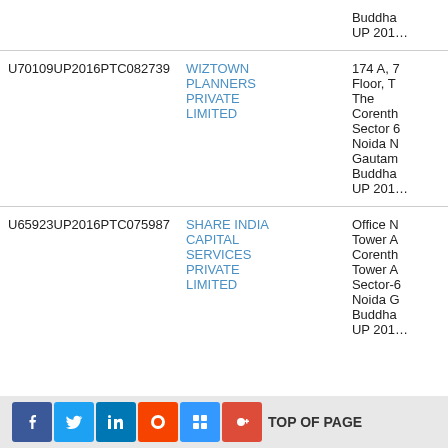| CIN | Company Name | Address |
| --- | --- | --- |
|  |  | Buddha UP 201… |
| U70109UP2016PTC082739 | WIZTOWN PLANNERS PRIVATE LIMITED | 174 A, 7 Floor, The Corenth… Sector 6… Noida N… Gautam Buddha… UP 201… |
| U65923UP2016PTC075987 | SHARE INDIA CAPITAL SERVICES PRIVATE LIMITED | Office N… Tower A Corenth… Tower A Sector-6 Noida G… Buddha… UP 201… |
TOP OF PAGE